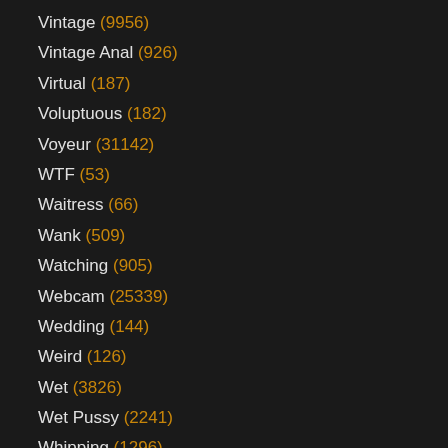Vintage (9956)
Vintage Anal (926)
Virtual (187)
Voluptuous (182)
Voyeur (31142)
WTF (53)
Waitress (66)
Wank (509)
Watching (905)
Webcam (25339)
Wedding (144)
Weird (126)
Wet (3826)
Wet Pussy (2241)
Whipping (1296)